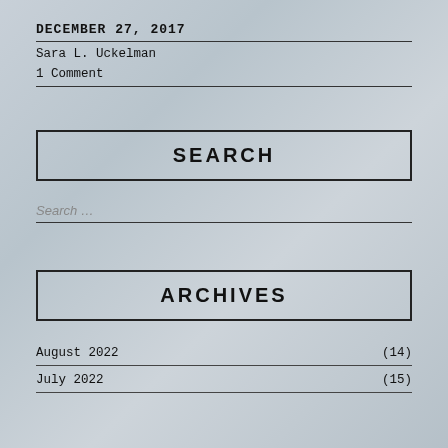DECEMBER 27, 2017
Sara L. Uckelman
1 Comment
SEARCH
Search …
ARCHIVES
August 2022 (14)
July 2022 (15)